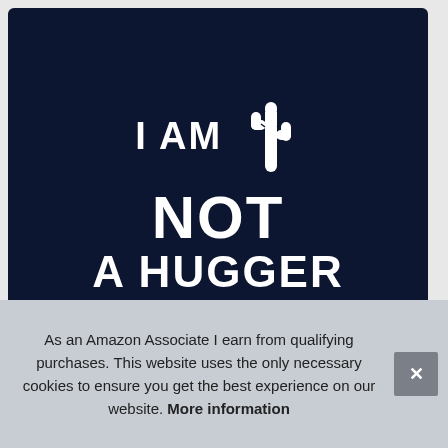[Figure (photo): Dark navy blue t-shirt with white graphic text reading 'I AM NOT A HUGGER' with a cactus illustration in the middle of the text]
As an Amazon Associate I earn from qualifying purchases. This website uses the only necessary cookies to ensure you get the best experience on our website. More information